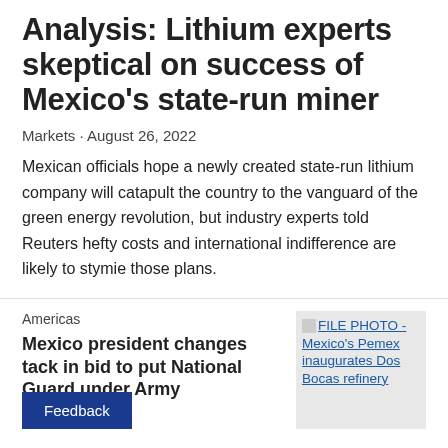Analysis: Lithium experts skeptical on success of Mexico's state-run miner
Markets · August 26, 2022
Mexican officials hope a newly created state-run lithium company will catapult the country to the vanguard of the green energy revolution, but industry experts told Reuters hefty costs and international indifference are likely to stymie those plans.
Americas
Mexico president changes tack in bid to put National Guard under Army
Aug 2
[Figure (photo): FILE PHOTO - Mexico's Pemex inaugurates Dos Bocas refinery]